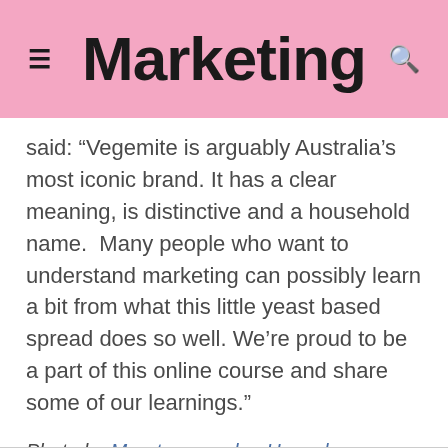Marketing
said: “Vegemite is arguably Australia’s most iconic brand. It has a clear meaning, is distinctive and a household name.  Many people who want to understand marketing can possibly learn a bit from what this little yeast based spread does so well. We’re proud to be a part of this online course and share some of our learnings.”
Photo by Maarten van den Heuvel on Unsplash.
Tags:  News